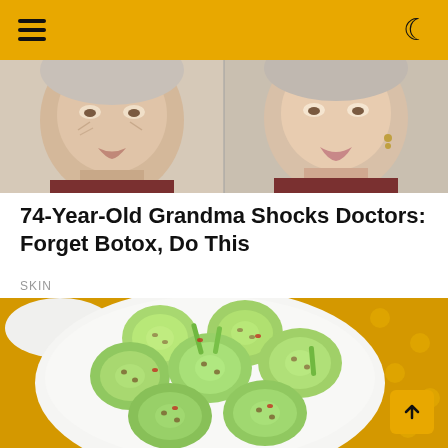Navigation bar with hamburger menu and moon/dark mode icon
[Figure (photo): Before and after comparison photo of an elderly woman's face showing skin changes, split into two side-by-side panels against a light background]
74-Year-Old Grandma Shocks Doctors: Forget Botox, Do This
SKIN
[Figure (photo): Overhead photo of a white bowl filled with sliced cucumber salad with green onions and red pepper flakes, on a yellow polka dot cloth]